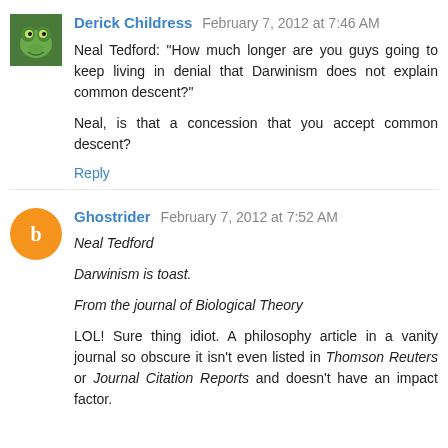Derick Childress  February 7, 2012 at 7:46 AM
Neal Tedford: "How much longer are you guys going to keep living in denial that Darwinism does not explain common descent?"

Neal, is that a concession that you accept common descent?
Reply
Ghostrider  February 7, 2012 at 7:52 AM
Neal Tedford

Darwinism is toast.

From the journal of Biological Theory

LOL! Sure thing idiot. A philosophy article in a vanity journal so obscure it isn't even listed in Thomson Reuters or Journal Citation Reports and doesn't have an impact factor.